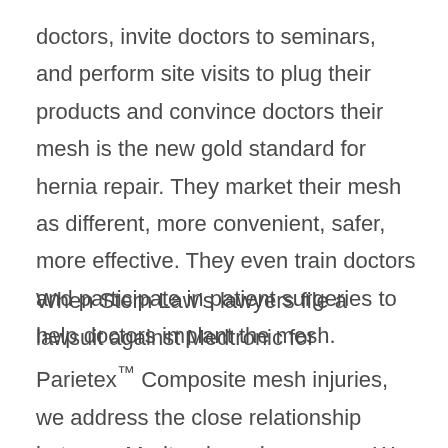doctors, invite doctors to seminars, and perform site visits to plug their products and convince doctors their mesh is the new gold standard for hernia repair. They market their mesh as different, more convenient, safer, more effective. They even train doctors and participate in patient surgeries to help doctors implant the mesh.
When Stern Law's lawyers file a lawsuit against Medtronic for Parietex™ Composite mesh injuries, we address the close relationship between Medtronic and surgeons. We allege in these suits that Medtronic failed to properly train and warn